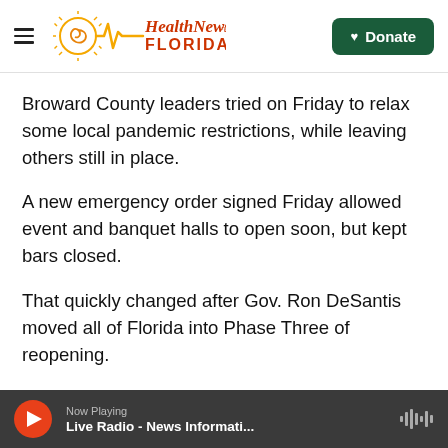Health News Florida — Donate
Broward County leaders tried on Friday to relax some local pandemic restrictions, while leaving others still in place.
A new emergency order signed Friday allowed event and banquet halls to open soon, but kept bars closed.
That quickly changed after Gov. Ron DeSantis moved all of Florida into Phase Three of reopening.
WLRN is here for you, even when life is unpredictable. Local journalists are working hard
Now Playing — Live Radio - News Informati...